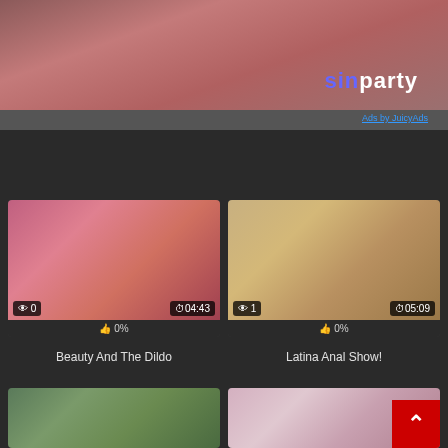[Figure (photo): Advertisement banner for sinparty website showing adult content with sinparty logo]
Ads by JuicyAds
[Figure (photo): Video thumbnail for Beauty And The Dildo showing views: 0, duration: 04:43, likes: 0%]
Beauty And The Dildo
[Figure (photo): Video thumbnail for Latina Anal Show! showing views: 1, duration: 05:09, likes: 0%]
Latina Anal Show!
[Figure (photo): Video thumbnail partial view at bottom left]
[Figure (photo): Video thumbnail partial view at bottom right with scroll-to-top button]